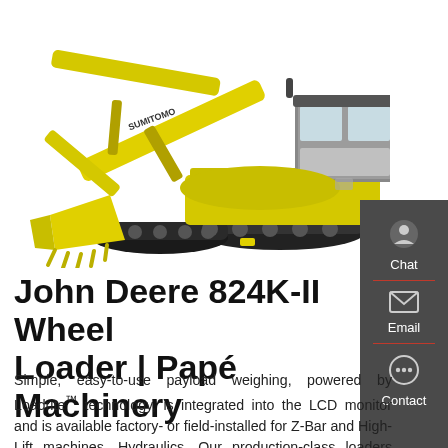[Figure (photo): Yellow Sumitomo excavator/crawler with bucket arm extended, shown on white background from side angle]
John Deere 824K-II Wheel Loader | Papé Machinery
Simple, easy-to-use payload weighing, powered by Loadrite™ technology, is integrated into the LCD monitor and is available factory- or field-installed for Z-Bar and High-Lift machines. Hydraulics. Our production-class loaders have two hydraulic pumps